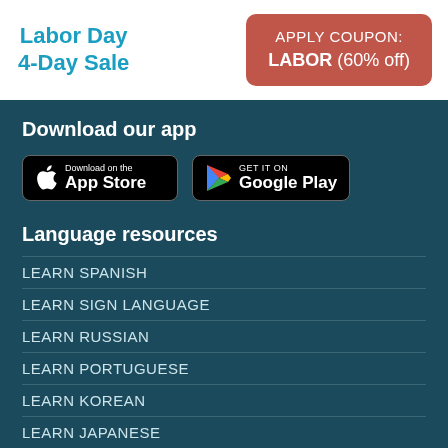Labor Day
4-Day Sale
APPLY COUPON: LABOR (60% off)
Download our app
[Figure (other): App Store and Google Play download buttons]
Language resources
LEARN SPANISH
LEARN SIGN LANGUAGE
LEARN RUSSIAN
LEARN PORTUGUESE
LEARN KOREAN
LEARN JAPANESE